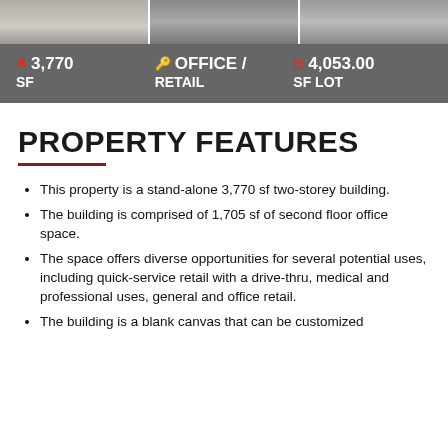[Figure (photo): Three property photos in a horizontal strip showing parking lot and building exterior]
3,770 SF | OFFICE / RETAIL | 4,053.00 SF LOT
PROPERTY FEATURES
This property is a stand-alone 3,770 sf two-storey building.
The building is comprised of 1,705 sf of second floor office space.
The space offers diverse opportunities for several potential uses, including quick-service retail with a drive-thru, medical and professional uses, general and office retail.
The building is a blank canvas that can be customized